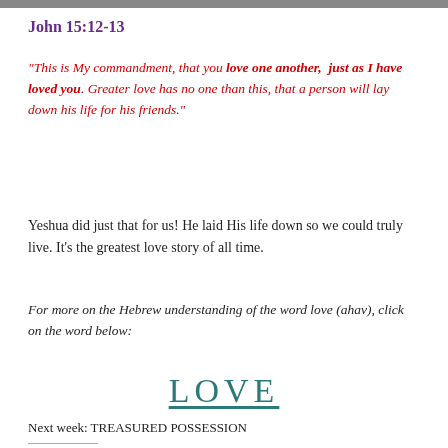John 15:12-13
“This is My commandment, that you love one another,  just as I have loved you. Greater love has no one than this, that a person will lay down his life for his friends.”
Yeshua did just that for us! He laid His life down so we could truly live. It’s the greatest love story of all time.
For more on the Hebrew understanding of the word love (ahav), click on the word below:
LOVE
Next week: TREASURED POSSESSION